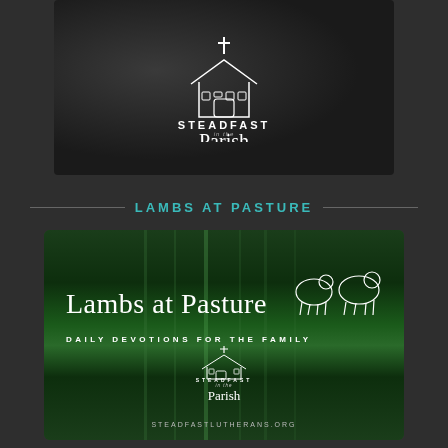[Figure (logo): Steadfast in the Parish logo on dark textured leather-look background. White church icon with cross and text: STEADFAST in the Parish.]
LAMBS AT PASTURE
[Figure (illustration): Lambs at Pasture promotional card on dark green vertically-striped background. White text reads: Lambs at Pasture, DAILY DEVOTIONS FOR THE FAMILY, Steadfast in the Parish logo, STEADFASTLUTHERANS.ORG]